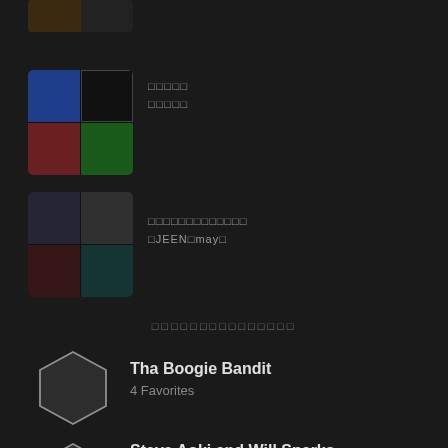[Figure (screenshot): Partial playlist thumbnail grid at top of page, cropped]
[Figure (screenshot): Playlist item with 2x2 thumbnail grid showing colorful album art]
□□□□□
□□□□□
[Figure (screenshot): Playlist item with 2x2 thumbnail grid showing music artists]
□□□□□□□□□□□□□
□JEEN□may□
□□□□□□□□□□□□□□□
[Figure (illustration): Hexagon avatar placeholder for Tha Boogie Bandit]
Tha Boogie Bandit
4 Favorites
[Figure (illustration): Hexagon avatar placeholder for Steve Aoki and Will Sparks]
Steve Aoki and Will Sparks
4 Favorites